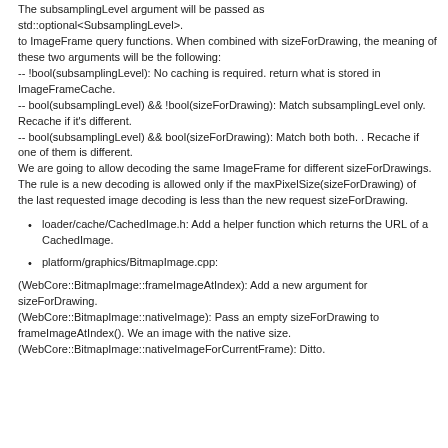The subsamplingLevel argument will be passed as std::optional<SubsamplingLevel>. to ImageFrame query functions. When combined with sizeForDrawing, the meaning of these two arguments will be the following: -- !bool(subsamplingLevel): No caching is required. return what is stored in ImageFrameCache. -- bool(subsamplingLevel) && !bool(sizeForDrawing): Match subsamplingLevel only. Recache if it's different. -- bool(subsamplingLevel) && bool(sizeForDrawing): Match both both. . Recache if one of them is different. We are going to allow decoding the same ImageFrame for different sizeForDrawings. The rule is a new decoding is allowed only if the maxPixelSize(sizeForDrawing) of the last requested image decoding is less than the new request sizeForDrawing.
loader/cache/CachedImage.h: Add a helper function which returns the URL of a CachedImage.
platform/graphics/BitmapImage.cpp:
(WebCore::BitmapImage::frameImageAtIndex): Add a new argument for sizeForDrawing.
(WebCore::BitmapImage::nativeImage): Pass an empty sizeForDrawing to frameImageAtIndex(). We an image with the native size.
(WebCore::BitmapImage::nativeImageForCurrentFrame): Ditto.